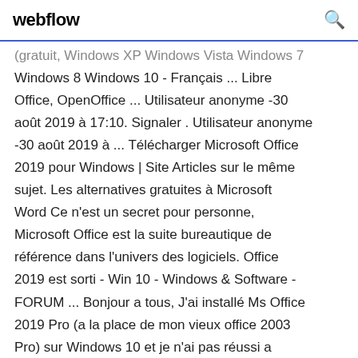webflow
(gratuit, Windows XP Windows Vista Windows 7 Windows 8 Windows 10 - Français ... Libre Office, OpenOffice ... Utilisateur anonyme -30 août 2019 à 17:10. Signaler . Utilisateur anonyme -30 août 2019 à ... Télécharger Microsoft Office 2019 pour Windows | Site Articles sur le même sujet. Les alternatives gratuites à Microsoft Word Ce n'est un secret pour personne, Microsoft Office est la suite bureautique de référence dans l'univers des logiciels. Office 2019 est sorti - Win 10 - Windows & Software - FORUM ... Bonjour a tous, J'ai installé Ms Office 2019 Pro (a la place de mon vieux office 2003 Pro) sur Windows 10 et je n'ai pas réussi a selectionner uniquement les ...